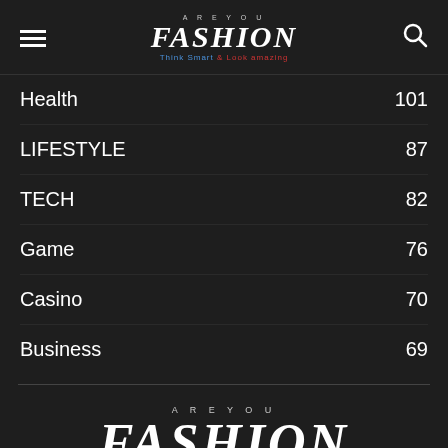AREYOU FASHION - Think Smart & Look amazing
Health 101
LIFESTYLE 87
TECH 82
Game 76
Casino 70
Business 69
[Figure (logo): Are You Fashion logo with tagline Think Smart & Look amazing]
AREYOU FASHION - Think Smart & Look amazing